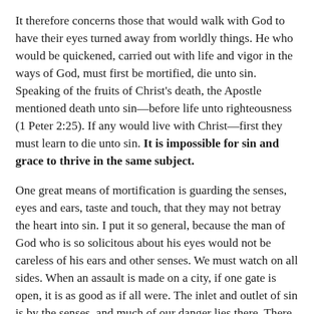It therefore concerns those that would walk with God to have their eyes turned away from worldly things. He who would be quickened, carried out with life and vigor in the ways of God, must first be mortified, die unto sin. Speaking of the fruits of Christ's death, the Apostle mentioned death unto sin—before life unto righteousness (1 Peter 2:25). If any would live with Christ—first they must learn to die unto sin. It is impossible for sin and grace to thrive in the same subject.
One great means of mortification is guarding the senses, eyes and ears, taste and touch, that they may not betray the heart into sin. I put it so general, because the man of God who is so solicitous about his eyes would not be careless of his ears and other senses. We must watch on all sides. When an assault is made on a city, if one gate is open, it is as good as if all were. The inlet and outlet of sin is by the senses, and much of our danger lies there. There are many objects that agree with our dispositions, and by them insinuate themselves into the soul,